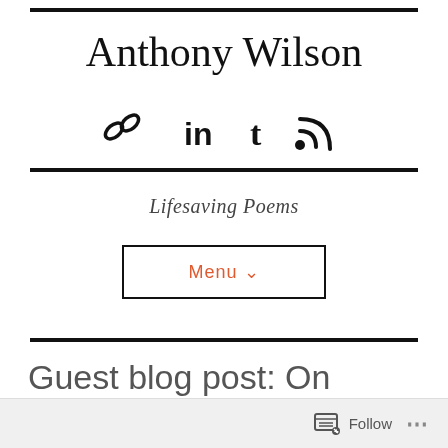Anthony Wilson
[Figure (infographic): Social media icons row: link/chain icon, LinkedIn icon, Tumblr icon, RSS feed icon]
Lifesaving Poems
Menu ∨
Guest blog post: On moving on, by Dean Parkin
Follow  ...